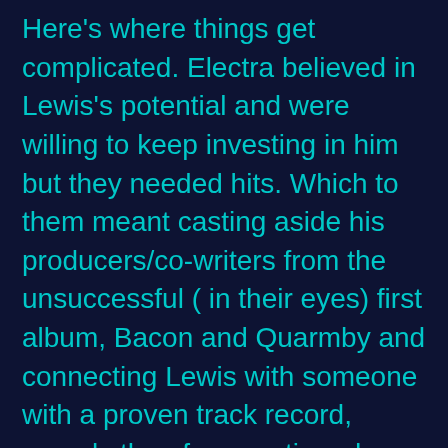Here's where things get complicated. Electra believed in Lewis's potential and were willing to keep investing in him but they needed hits. Which to them meant casting aside his producers/co-writers from the unsuccessful ( in their eyes) first album, Bacon and Quarmby and connecting Lewis with someone with a proven track record, namely the aforementioned Glen Ballard ( who at that point had a myriad of big time credits to his name including co-writing Michael Jackson's mega"Man in the Mirror")